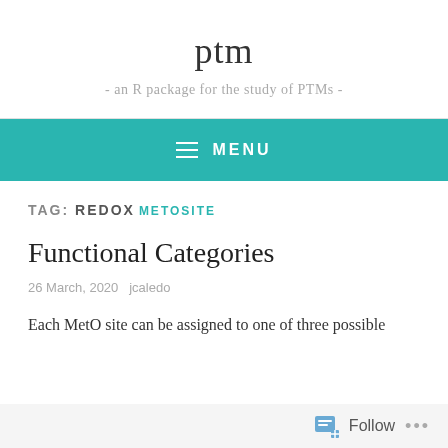ptm
- an R package for the study of PTMs -
MENU
TAG: REDOX
METOSITE
Functional Categories
26 March, 2020   jcaledo
Each MetO site can be assigned to one of three possible
Follow ...